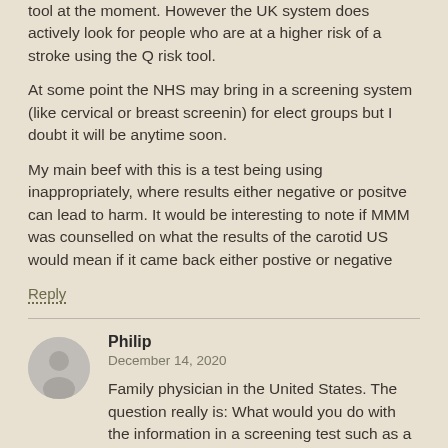tool at the moment. However the UK system does actively look for people who are at a higher risk of a stroke using the Q risk tool.
At some point the NHS may bring in a screening system (like cervical or breast screenin) for elect groups but I doubt it will be anytime soon.
My main beef with this is a test being using inappropriately, where results either negative or positve can lead to harm. It would be interesting to note if MMM was counselled on what the results of the carotid US would mean if it came back either postive or negative
Reply
Philip
December 14, 2020
Family physician in the United States. The question really is: What would you do with the information in a screening test such as a carotid ultrasound? Keep in mind the example in this post concerns a test in an asymptomatic healthy male with excellent lifestyle behaviors in their 40s such as MMM. If the carotid